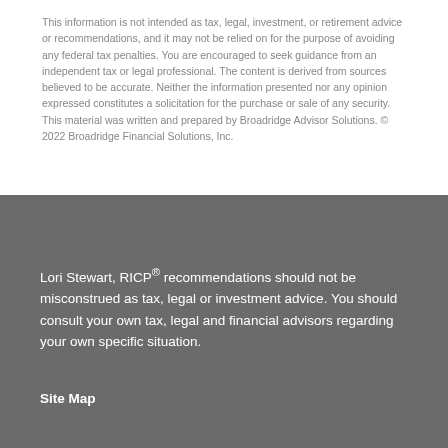This information is not intended as tax, legal, investment, or retirement advice or recommendations, and it may not be relied on for the purpose of avoiding any federal tax penalties. You are encouraged to seek guidance from an independent tax or legal professional. The content is derived from sources believed to be accurate. Neither the information presented nor any opinion expressed constitutes a solicitation for the purchase or sale of any security. This material was written and prepared by Broadridge Advisor Solutions. © 2022 Broadridge Financial Solutions, Inc.
Lori Stewart, RICP® recommendations should not be misconstrued as tax, legal or investment advice. You should consult your own tax, legal and financial advisors regarding your own specific situation.
Site Map